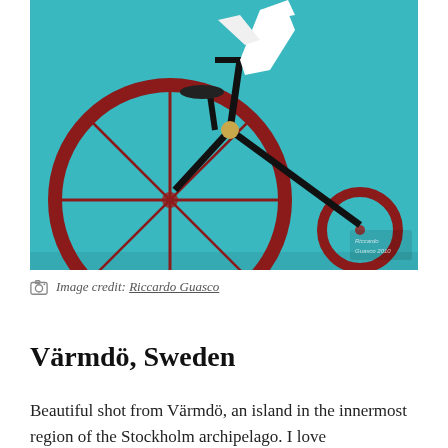[Figure (illustration): A stylized illustration of a penny-farthing bicycle (large front wheel, small rear wheel) on a teal/turquoise background. A white bird or figure appears at the top. The bicycle has dark red/maroon wheels and a black frame. An artist signature and year 2010 appears in the lower right corner.]
Image credit: Riccardo Guasco
Värmdö, Sweden
Beautiful shot from Värmdö, an island in the innermost region of the Stockholm archipelago. I love